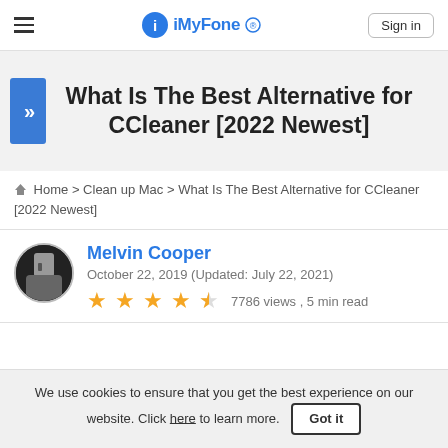iMyFone — Sign in
What Is The Best Alternative for CCleaner [2022 Newest]
Home > Clean up Mac > What Is The Best Alternative for CCleaner [2022 Newest]
Melvin Cooper
October 22, 2019 (Updated: July 22, 2021)
★★★★½  7786 views , 5 min read
We use cookies to ensure that you get the best experience on our website. Click here to learn more.  Got it